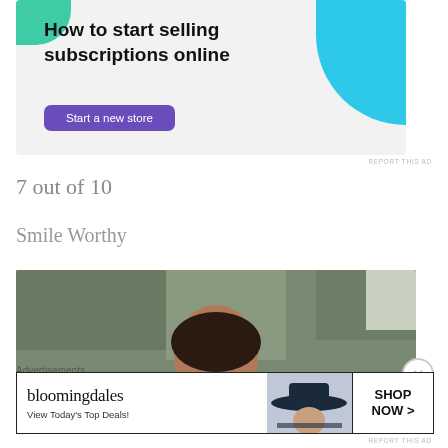[Figure (infographic): Advertisement banner with teal/green decorative shapes, bold text 'How to start selling subscriptions online', and a purple 'Start a new store' button on a light grey background]
REPORT THIS AD
7 out of 10
Smile Worthy
[Figure (photo): A woman smiling outdoors with green foliage in the background]
Advertisements
[Figure (infographic): Bloomingdale's advertisement banner: logo text 'bloomingdales', tagline 'View Today's Top Deals!', image of woman in hat, 'SHOP NOW >' button]
REPORT THIS AD